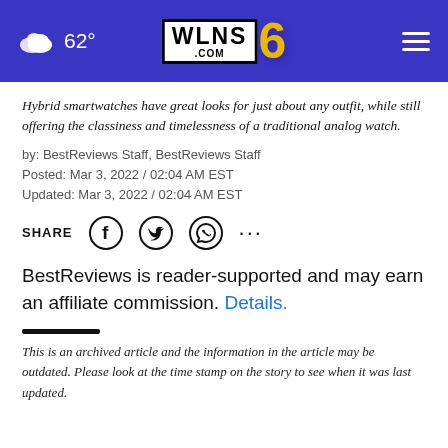62° WLNS6.com
Hybrid smartwatches have great looks for just about any outfit, while still offering the classiness and timelessness of a traditional analog watch.
by: BestReviews Staff, BestReviews Staff
Posted: Mar 3, 2022 / 02:04 AM EST
Updated: Mar 3, 2022 / 02:04 AM EST
SHARE [Facebook] [Twitter] [WhatsApp] [...]
BestReviews is reader-supported and may earn an affiliate commission. Details.
This is an archived article and the information in the article may be outdated. Please look at the time stamp on the story to see when it was last updated.